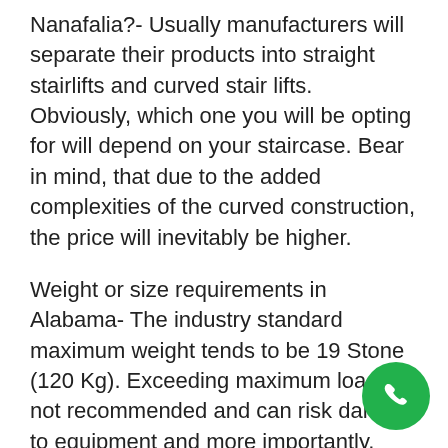Nanafalia?- Usually manufacturers will separate their products into straight stairlifts and curved stair lifts. Obviously, which one you will be opting for will depend on your staircase. Bear in mind, that due to the added complexities of the curved construction, the price will inevitably be higher.
Weight or size requirements in Alabama- The industry standard maximum weight tends to be 19 Stone (120 Kg). Exceeding maximum loads is not recommended and can risk damage to equipment and more importantly, jeopardize the safety of the individual using the product. If you require something with a higher maximum load than this, then it is important to say so when speaking to the sales agent. Likewise when considering a larger or higher seat requirement.